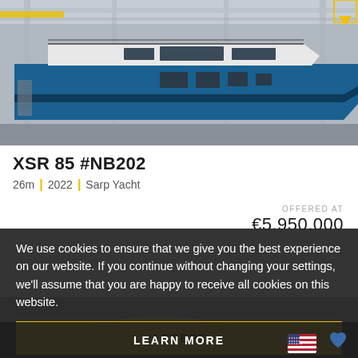[Figure (photo): Blue motor yacht XSR 85 under construction inside a large industrial shipyard building. The yacht has a modern design with large windows and a dark hull stripe.]
XSR 85 #NB202
26m | 2022 | Sarp Yacht
OFFERED AT
€5,950,000
We use cookies to ensure that we give you the best experience on our website. If you continue without changing your settings, we'll assume that you are happy to receive all cookies on this website.
ACCEPT
[Figure (photo): Aerial view of a yacht on open water, partially obscured by cookie consent overlay.]
LEARN MORE